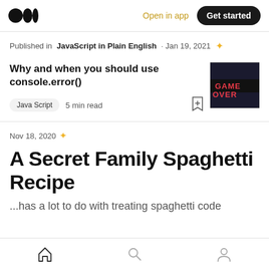Open in app · Get started
Published in JavaScript in Plain English · Jan 19, 2021
Why and when you should use console.error()
Java Script   5 min read
[Figure (photo): Thumbnail image showing illuminated red neon sign text 'GAME OVER' on dark background]
Nov 18, 2020
A Secret Family Spaghetti Recipe
...has a lot to do with treating spaghetti code
Home · Search · Profile